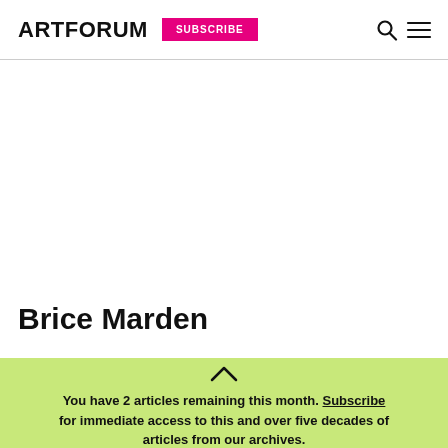ARTFORUM  SUBSCRIBE
Brice Marden
You have 2 articles remaining this month. Subscribe for immediate access to this and over five decades of articles from our archives.